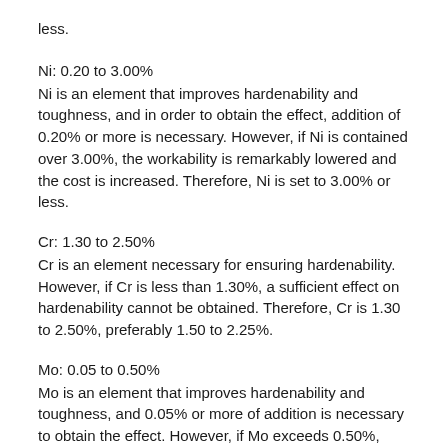less.
Ni: 0.20 to 3.00%
Ni is an element that improves hardenability and toughness, and in order to obtain the effect, addition of 0.20% or more is necessary. However, if Ni is contained over 3.00%, the workability is remarkably lowered and the cost is increased. Therefore, Ni is set to 3.00% or less.
Cr: 1.30 to 2.50%
Cr is an element necessary for ensuring hardenability. However, if Cr is less than 1.30%, a sufficient effect on hardenability cannot be obtained. Therefore, Cr is 1.30 to 2.50%, preferably 1.50 to 2.25%.
Mo: 0.05 to 0.50%
Mo is an element that improves hardenability and toughness, and 0.05% or more of addition is necessary to obtain the effect. However, if Mo exceeds 0.50%, workability is reduced. Therefore, Mo is set to 0.05 to 0.50%.
Cu: 0.30% or less Cu is an inevitable element contained from scrap, but has aging properties and an effect of